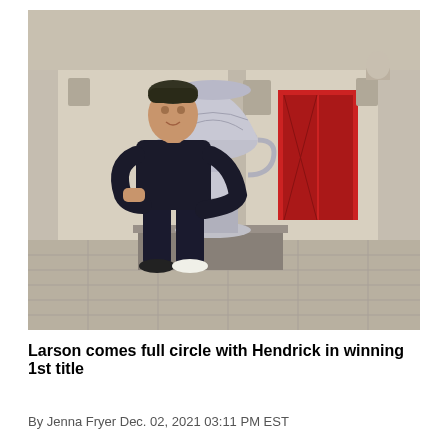[Figure (photo): A man dressed in dark clothing standing outdoors in front of a building with red doors, posing next to a large silver trophy (NASCAR Cup Series trophy) placed on a stone pedestal. The setting appears to be a plaza or entrance to a stadium.]
Larson comes full circle with Hendrick in winning 1st title
By Jenna Fryer Dec. 02, 2021 03:11 PM EST